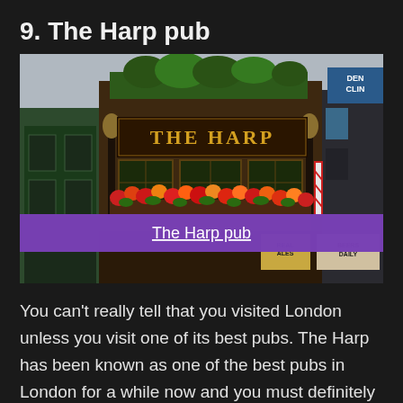9. The Harp pub
[Figure (photo): Exterior photograph of The Harp pub in London, showing ornate Victorian facade with 'THE HARP' sign, colorful flower boxes with red and orange blooms, green lanterns, and a purple overlay caption bar reading 'The Harp pub'. Sign below reads 'REAL ALES BEERS DAILY'.]
You can't really tell that you visited London unless you visit one of its best pubs. The Harp has been known as one of the best pubs in London for a while now and you must definitely go there to drink